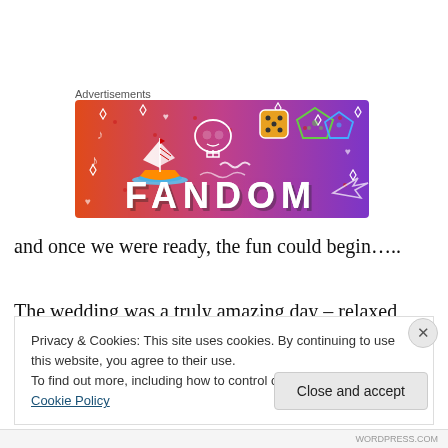Advertisements
[Figure (illustration): Fandom advertisement banner with orange-to-purple gradient background, decorative doodles (sailboat, skull, dice, music notes, arrows), and FANDOM text in large bold letters]
and once we were ready, the fun could begin…..
The wedding was a truly amazing day – relaxed, full of
Privacy & Cookies: This site uses cookies. By continuing to use this website, you agree to their use.
To find out more, including how to control cookies, see here: Cookie Policy
Close and accept